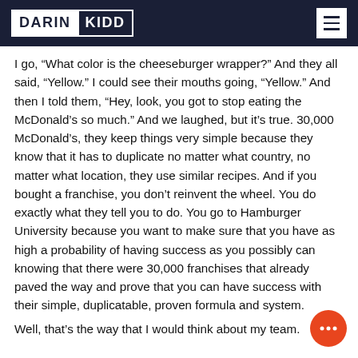DARIN KIDD
I go, “What color is the cheeseburger wrapper?” And they all said, “Yellow.” I could see their mouths going, “Yellow.” And then I told them, “Hey, look, you got to stop eating the McDonald’s so much.” And we laughed, but it’s true. 30,000 McDonald’s, they keep things very simple because they know that it has to duplicate no matter what country, no matter what location, they use similar recipes. And if you bought a franchise, you don’t reinvent the wheel. You do exactly what they tell you to do. You go to Hamburger University because you want to make sure that you have as high a probability of having success as you possibly can knowing that there were 30,000 franchises that already paved the way and prove that you can have success with their simple, duplicatable, proven formula and system.
Well, that’s the way that I would think about my team.